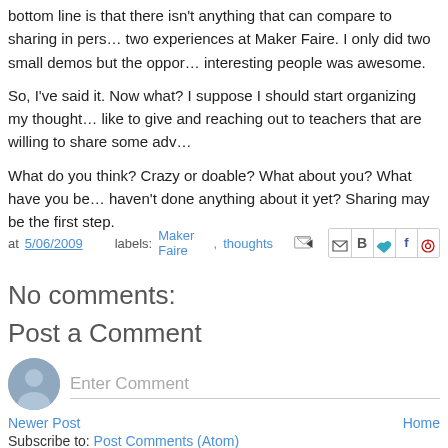bottom line is that there isn't anything that can compare to sharing in person two experiences at Maker Faire. I only did two small demos but the opportunity to meet interesting people was awesome.
So, I've said it. Now what? I suppose I should start organizing my thoughts on talks I'd like to give and reaching out to teachers that are willing to share some adv...
What do you think? Crazy or doable? What about you? What have you been... haven't done anything about it yet? Sharing may be the first step.
at 5/06/2009   labels: Maker Faire, thoughts
No comments:
Post a Comment
Enter Comment
Newer Post   Home
Subscribe to: Post Comments (Atom)